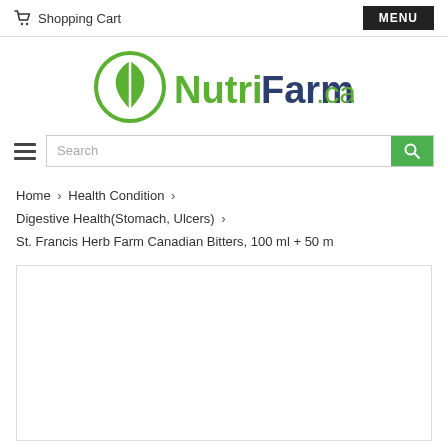Shopping Cart  MENU
[Figure (logo): NutriFarm.ca logo with green leaf icon]
Search
Home › Health Condition › Digestive Health(Stomach, Ulcers) › St. Francis Herb Farm Canadian Bitters, 100 ml + 50 m
[Figure (photo): Product image placeholder box (white/empty)]